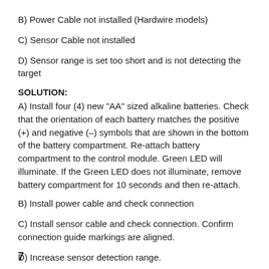B) Power Cable not installed (Hardwire models)
C) Sensor Cable not installed
D) Sensor range is set too short and is not detecting the target
SOLUTION:
A) Install four (4) new "AA" sized alkaline batteries. Check that the orientation of each battery matches the positive (+) and negative (–) symbols that are shown in the bottom of the battery compartment. Re-attach battery compartment to the control module. Green LED will illuminate. If the Green LED does not illuminate, remove battery compartment for 10 seconds and then re-attach.
B) Install power cable and check connection
C) Install sensor cable and check connection. Confirm connection guide markings are aligned.
D) Increase sensor detection range.
7